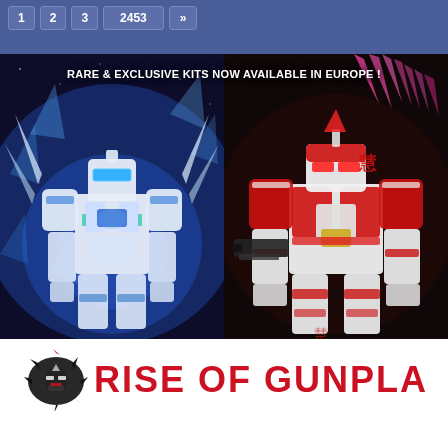1 2 3 2453 »
[Figure (photo): Banner advertisement showing two Gundam model kits side by side. Left: white and blue Gundam with glowing blue energy effects on dark blue space background. Right: red and white Gundam holding a weapon with pink wing/feather effects on dark background. Text overlay reads: RARE & EXCLUSIVE KITS NOW AVAILABLE IN EUROPE !]
[Figure (logo): Rise of Gunpla logo - red bold text 'RISE OF GUNPLA' with a black Gundam head silhouette icon to the left]